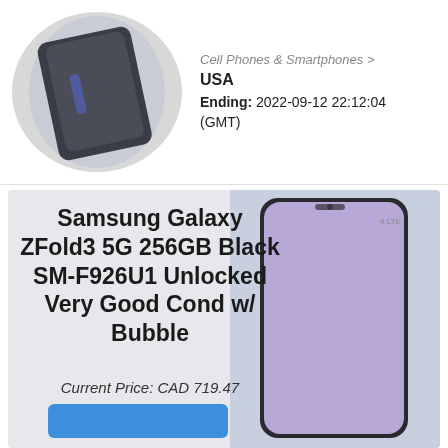[Figure (photo): Circular cropped photo of a Samsung smartphone lying face-down with a dark screen, showing the back panel at an angle.]
Cell Phones & Smartphones > USA Ending: 2022-09-12 22:12:04 (GMT)
[Figure (photo): Product listing card for Samsung Galaxy ZFold3 5G, showing a smartphone with a light purple/lavender display screen on a light blue-grey background.]
Samsung Galaxy ZFold3 5G 256GB Black SM-F926U1 Unlocked Very Good Cond w/ Bubble
Current Price: CAD 719.47